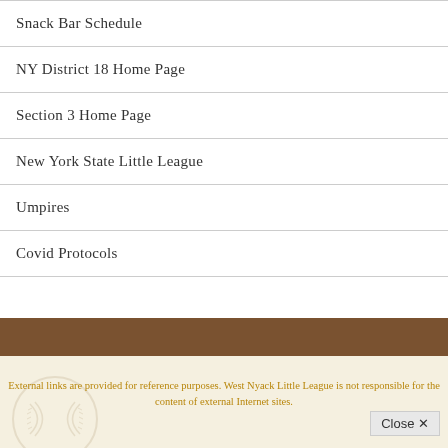Snack Bar Schedule
NY District 18 Home Page
Section 3 Home Page
New York State Little League
Umpires
Covid Protocols
External links are provided for reference purposes. West Nyack Little League is not responsible for the content of external Internet sites.